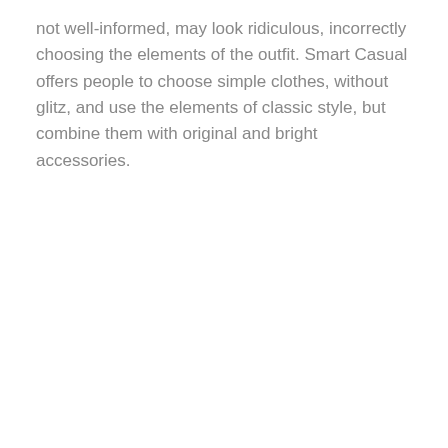not well-informed, may look ridiculous, incorrectly choosing the elements of the outfit. Smart Casual offers people to choose simple clothes, without glitz, and use the elements of classic style, but combine them with original and bright accessories.